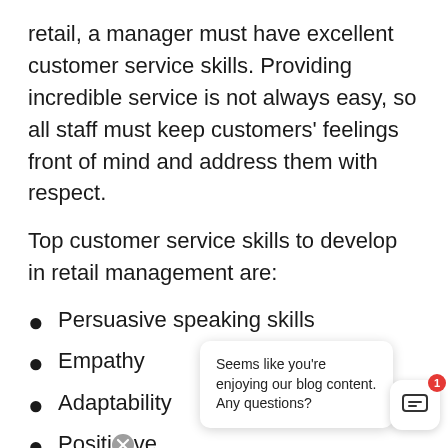retail, a manager must have excellent customer service skills. Providing incredible service is not always easy, so all staff must keep customers' feelings front of mind and address them with respect.
Top customer service skills to develop in retail management are:
Persuasive speaking skills
Empathy
Adaptability
Positive
Clear co